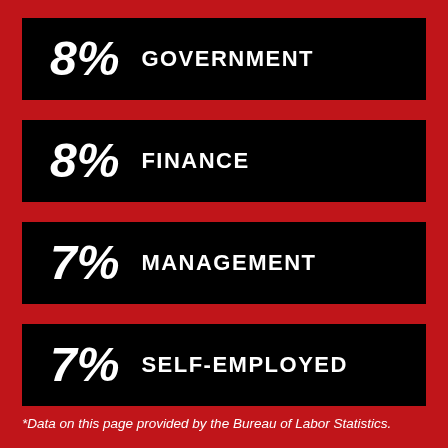[Figure (infographic): Four black bars on a red background showing employment sector percentages: 8% Government, 8% Finance, 7% Management, 7% Self-Employed]
*Data on this page provided by the Bureau of Labor Statistics.